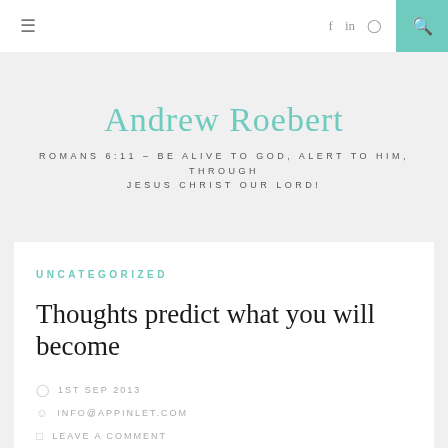≡  f  in  ⊙  🔍
Andrew Roebert
ROMANS 6:11 – BE ALIVE TO GOD, ALERT TO HIM, THROUGH JESUS CHRIST OUR LORD!
UNCATEGORIZED
Thoughts predict what you will become
1ST SEP 2013
INFO@APPINLET.COM
LEAVE A COMMENT